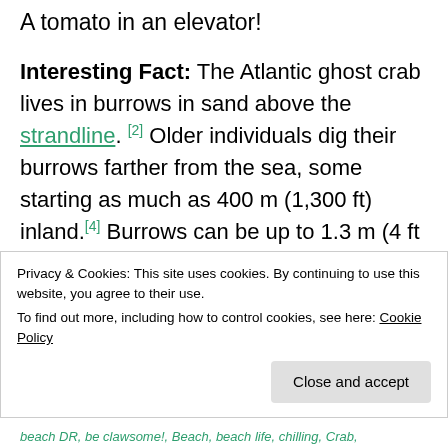A tomato in an elevator!
Interesting Fact: The Atlantic ghost crab lives in burrows in sand above the strandline. [2] Older individuals dig their burrows farther from the sea, some starting as much as 400 m (1,300 ft) inland.[4] Burrows can be up to 1.3 m (4 ft 3 in) deep, and can be closed off with sand during hot periods. ( https://en.wikipedia.org/wiki/Atlantic_ghost_crab )
Privacy & Cookies: This site uses cookies. By continuing to use this website, you agree to their use.
To find out more, including how to control cookies, see here: Cookie Policy
beach DR, be clawsome!, Beach, beach life, chilling, Crab,